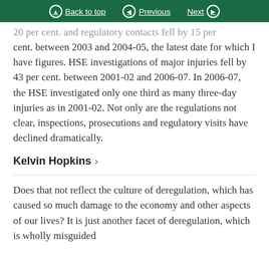Back to top | Previous | Next
20 per cent. and regulatory contacts fell by 15 per cent. between 2003 and 2004-05, the latest date for which I have figures. HSE investigations of major injuries fell by 43 per cent. between 2001-02 and 2006-07. In 2006-07, the HSE investigated only one third as many three-day injuries as in 2001-02. Not only are the regulations not clear, inspections, prosecutions and regulatory visits have declined dramatically.
Kelvin Hopkins
Does that not reflect the culture of deregulation, which has caused so much damage to the economy and other aspects of our lives? It is just another facet of deregulation, which is wholly misguided